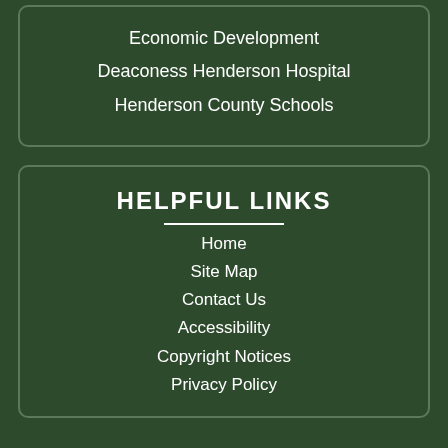Economic Development
Deaconess Henderson Hospital
Henderson County Schools
HELPFUL LINKS
Home
Site Map
Contact Us
Accessibility
Copyright Notices
Privacy Policy